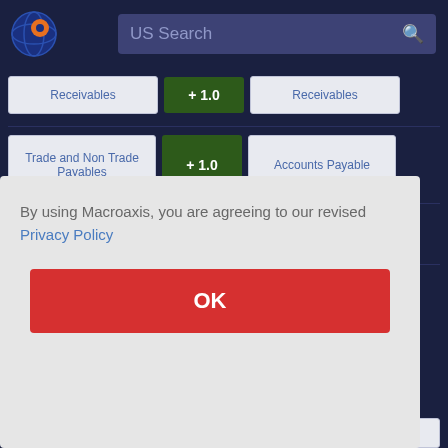[Figure (logo): Macroaxis globe logo with orange and blue colors]
US Search
| Source | Coefficient | Target |
| --- | --- | --- |
| Receivables | + 1.0 | Receivables |
| Trade and Non Trade Payables | + 1.0 | Accounts Payable |
| Assets Non Current | + 1.0 | Total Assets |
By using Macroaxis, you are agreeing to our revised Privacy Policy
OK